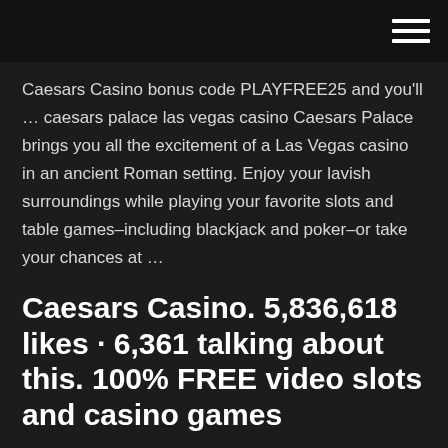Caesars Casino bonus code PLAYFREE25 and you'll … caesars palace las vegas casino Caesars Palace brings you all the excitement of a Las Vegas casino in an ancient Roman setting. Enjoy your lavish surroundings while playing your favorite slots and table games–including blackjack and poker–or take your chances at …
Caesars Casino. 5,836,618 likes · 6,361 talking about this. 100% FREE video slots and casino games
Explore our Caesars Entertainment's destinations - Las Vegas, Atlantic City, Lake Tahoe, Tunica and more. Choose